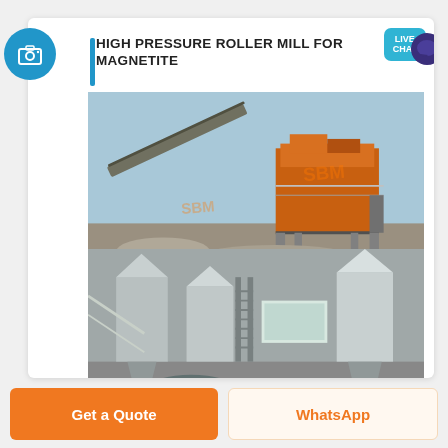HIGH PRESSURE ROLLER MILL FOR MAGNETITE
[Figure (photo): Industrial mining facility with large orange/yellow ore processing machinery on elevated steel platform, conveyor belts, and crushed stone ground. SBM watermark visible. Two photos stacked: top shows exterior crushing plant, bottom shows interior mill room with silos and roller equipment.]
Get a Quote
WhatsApp